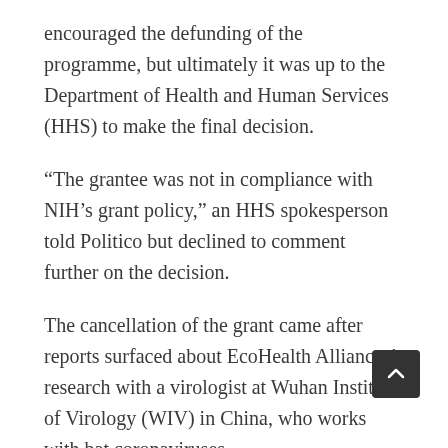encouraged the defunding of the programme, but ultimately it was up to the Department of Health and Human Services (HHS) to make the final decision.
“The grantee was not in compliance with NIH’s grant policy,” an HHS spokesperson told Politico but declined to comment further on the decision.
The cancellation of the grant came after reports surfaced about EcoHealth Alliances’ research with a virologist at Wuhan Institute of Virology (WIV) in China, who works with bat coronaviruses.
This lab became the centre of a conspiracy theory with the US federal government speculating that Covid-19 did not originate at a Wuhan wet market but instead in WIV.